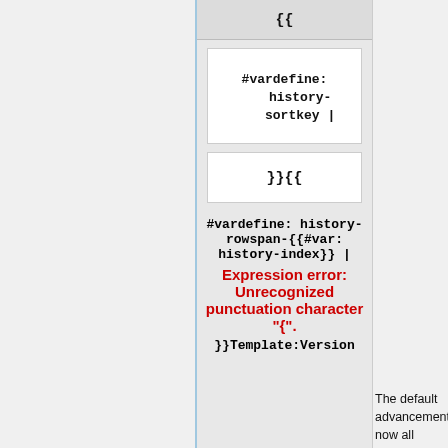{{
#vardefine: history-rowspan-{{#var: history-index}} | Expression error: Unrecognized punctuation character "{". }}Template:Version
The default advancements now all receive their titles and descriptions from the localization files.